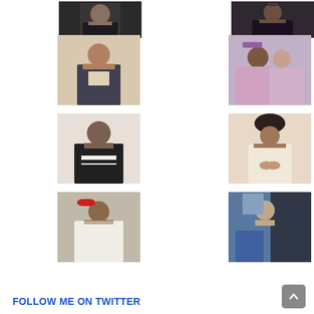[Figure (photo): Row 1: Two portrait photos - person in dark suit on left, person in dark suit on right]
[Figure (photo): Row 2: Two portrait photos - young man in vest on left, couple in traditional attire on right]
[Figure (photo): Row 3: Two portrait photos - man in black and white striped shirt on left, woman with elaborate updo hairstyle on right]
[Figure (photo): Row 4: Two portrait photos - man in white traditional outfit with red cap on left, young woman sitting by car door on right]
FOLLOW ME ON TWITTER